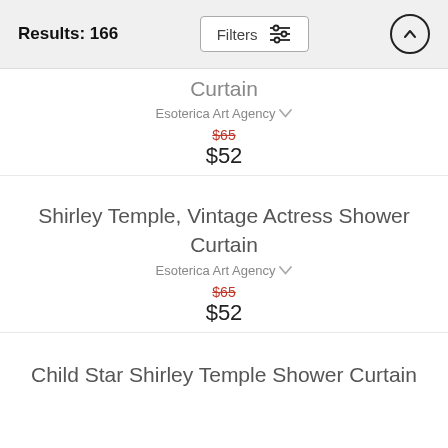Results: 166
Curtain
Esoterica Art Agency
$65
$52
Shirley Temple, Vintage Actress Shower Curtain
Esoterica Art Agency
$65
$52
Child Star Shirley Temple Shower Curtain